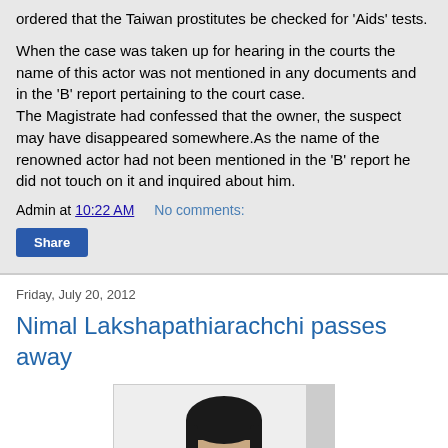ordered that the Taiwan prostitutes be checked for 'Aids' tests.
When the case was taken up for hearing in the courts the name of this actor was not mentioned in any documents and in the 'B' report pertaining to the court case. The Magistrate had confessed that the owner, the suspect may have disappeared somewhere.As the name of the renowned actor had not been mentioned in the 'B' report he did not touch on it and inquired about him.
Admin at 10:22 AM    No comments:
Share
Friday, July 20, 2012
Nimal Lakshapathiarachchi passes away
[Figure (photo): Photo of Nimal Lakshapathiarachchi, a person with dark hair, shown from shoulders up against a light background]